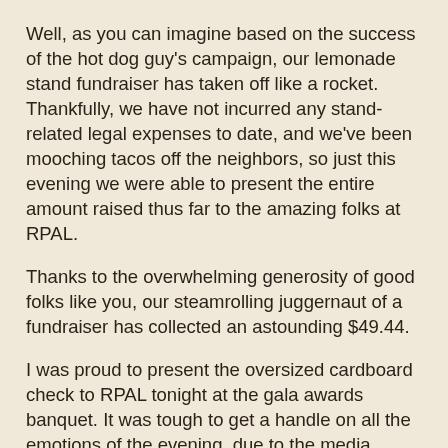Well, as you can imagine based on the success of the hot dog guy's campaign, our lemonade stand fundraiser has taken off like a rocket. Thankfully, we have not incurred any stand-related legal expenses to date, and we've been mooching tacos off the neighbors, so just this evening we were able to present the entire amount raised thus far to the amazing folks at RPAL.
Thanks to the overwhelming generosity of good folks like you, our steamrolling juggernaut of a fundraiser has collected an astounding $49.44.
I was proud to present the oversized cardboard check to RPAL tonight at the gala awards banquet. It was tough to get a handle on all the emotions of the evening, due to the media frenzy surrounding the check presentation, but I think I kept my composure admirably.
Remember, you can find our GoFundMe page at: https://www.gofundme.com/smidges-little-lemonade-stand-fund